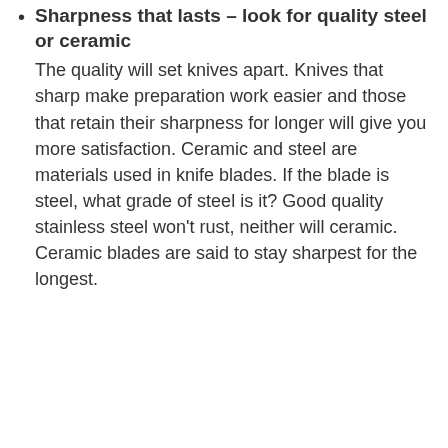Sharpness that lasts – look for quality steel or ceramic
The quality will set knives apart. Knives that sharp make preparation work easier and those that retain their sharpness for longer will give you more satisfaction. Ceramic and steel are materials used in knife blades. If the blade is steel, what grade of steel is it? Good quality stainless steel won't rust, neither will ceramic. Ceramic blades are said to stay sharpest for the longest.